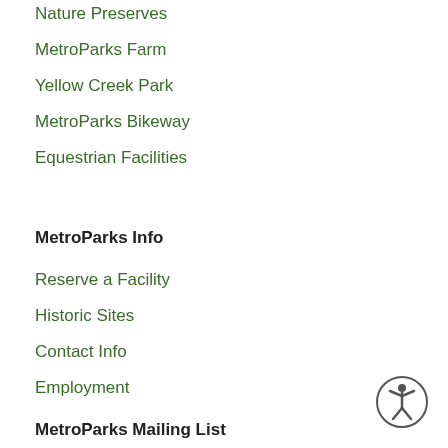Nature Preserves
MetroParks Farm
Yellow Creek Park
MetroParks Bikeway
Equestrian Facilities
MetroParks Info
Reserve a Facility
Historic Sites
Contact Info
Employment
MetroParks Mailing List
Join our Mailing List
[Figure (illustration): Accessibility icon - circle with human figure inside]